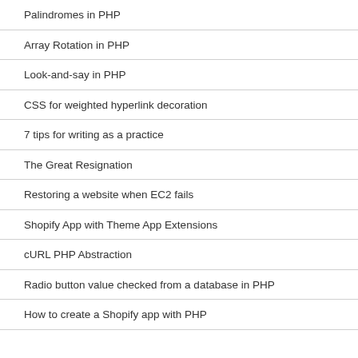Palindromes in PHP
Array Rotation in PHP
Look-and-say in PHP
CSS for weighted hyperlink decoration
7 tips for writing as a practice
The Great Resignation
Restoring a website when EC2 fails
Shopify App with Theme App Extensions
cURL PHP Abstraction
Radio button value checked from a database in PHP
How to create a Shopify app with PHP